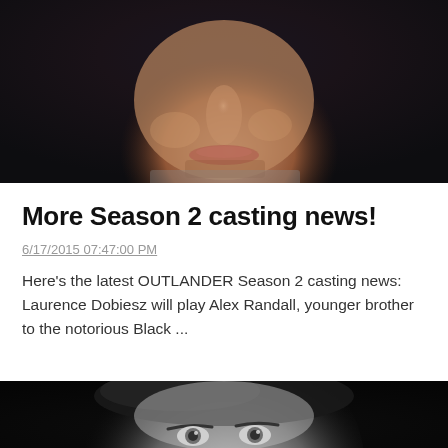[Figure (photo): Close-up portrait photo of a young man's face (lower half visible), with short light brown hair and stubble, against a dark blurred background. Color photo.]
More Season 2 casting news!
6/17/2015 07:47:00 PM
Here's the latest OUTLANDER Season 2 casting news: Laurence Dobiesz will play Alex Randall, younger brother to the notorious Black ...
[Figure (photo): Close-up black and white portrait photo of a man's face, with dark swept-back hair and light eyes, looking directly at camera against a dark background.]